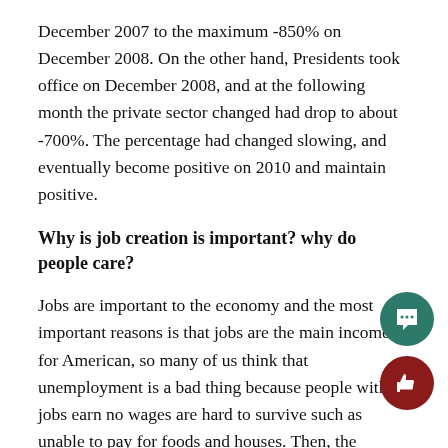December 2007 to the maximum -850% on December 2008. On the other hand, Presidents took office on December 2008, and at the following month the private sector changed had drop to about -700%. The percentage had changed slowing, and eventually become positive on 2010 and maintain positive.
Why is job creation is important? why do people care?
Jobs are important to the economy and the most important reasons is that jobs are the main income for American, so many of us think that unemployment is a bad thing because people without jobs earn no wages are hard to survive such as unable to pay for foods and houses. Then, the government has to have some programs like unemployment insurance and other benefits to help people to solve these problems. Why do people care? Where is the government get all the money? That is the money that come from citizens pay checks. Government is giving jobless people short